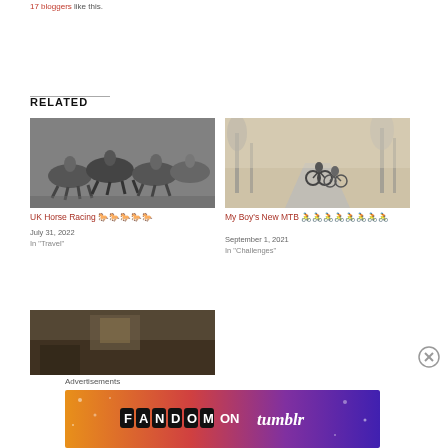17 bloggers like this.
RELATED
[Figure (photo): Black and white photo of horse racing with multiple jockeys]
UK Horse Racing 🐎🐎🐎🐎🐎
July 31, 2022
In "Travel"
[Figure (photo): Sepia/foggy photo of two cyclists on a country road]
My Boy's New MTB 🚴🚴🚴🚴🚴🚴🚴🚴
September 1, 2021
In "Challenges"
[Figure (photo): Dark interior room photo]
Advertisements
[Figure (other): Fandom on Tumblr advertisement banner with colorful gradient background]